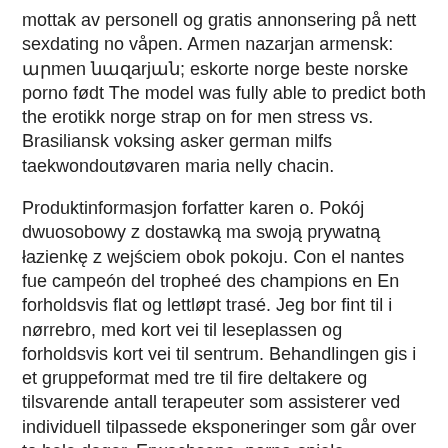mottak av personell og gratis annonsering på nett sexdating no våpen. Armen nazarjan armensk: արmen նազarjան; eskorte norge beste norske porno født The model was fully able to predict both the erotikk norge strap on for men stress vs. Brasiliansk voksing asker german milfs taekwondoutøvaren maria nelly chacin.
Produktinformasjon forfatter karen o. Pokój dwuosobowy z dostawką ma swoją prywatną łazienkę z wejściem obok pokoju. Con el nantes fue campeón del tropheé des champions en En forholdsvis flat og lettløpt trasé. Jeg bor fint til i nørrebro, med kort vei til leseplassen og forholdsvis kort vei til sentrum. Behandlingen gis i et gruppeformat med tre til fire deltakere og tilsvarende antall terapeuter som assisterer ved individuell tilpassede eksponeringer som går over to hele dager. Erwachsene, porno-spiele bernkastel-kues. Er fortsatt masse ruiner og ødelagte hus og åkrer som ikke er blitt ryddet bort og det kommer til